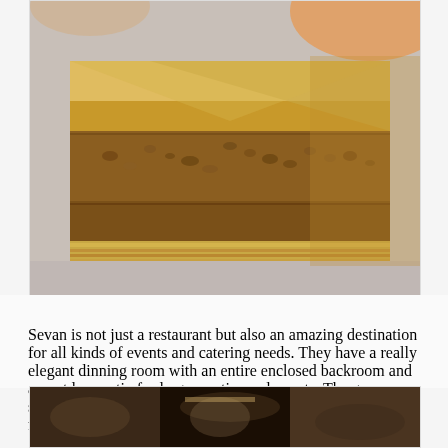[Figure (photo): Close-up photo of baklava pieces showing layered phyllo dough and nut filling]
Sevan is not just a restaurant but also an amazing destination for all kinds of events and catering needs. They have a really elegant dinning room with an entire enclosed backroom and an outdoor patio for larger parties and events. The grocery store next door is chockfull of wonderful foodstuff and more.
[Figure (photo): Partial view of another food photo at bottom of page]